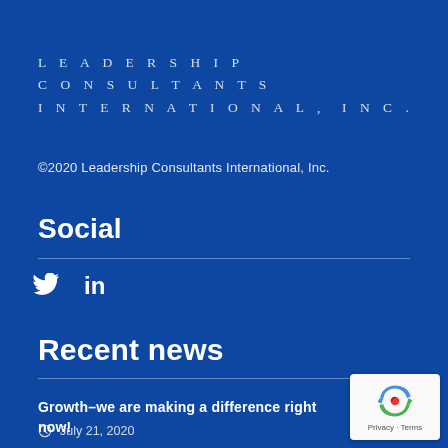LEADERSHIP CONSULTANTS INTERNATIONAL, INC.
©2020 Leadership Consultants International, Inc.
Social
[Figure (other): Social media icons: Twitter bird icon and LinkedIn 'in' icon]
Recent news
Growth–we are making a difference right now!
July 21, 2020
[Figure (logo): Google reCAPTCHA badge with recycle-style arrow logo and Privacy - Terms text]